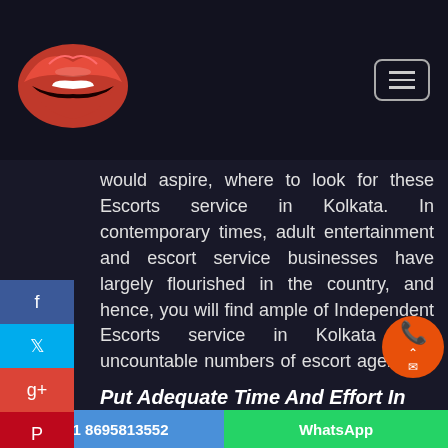[Figure (logo): Red lips logo icon on dark header bar with hamburger menu button]
would aspire, where to look for these Escorts service in Kolkata. In contemporary times, adult entertainment and escort service businesses have largely flourished in the country, and hence, you will find ample of Independent Escorts service in Kolkata and uncountable numbers of escort agencies, operating across the country. So, it might appear that you can contact these girls, or partner with any of these agencies, and get connected to a beautiful and sexy luxury services kolkata escorts who can give you the best experience.
Put Adequate Time And Effort In
+91 8695813552    WhatsApp